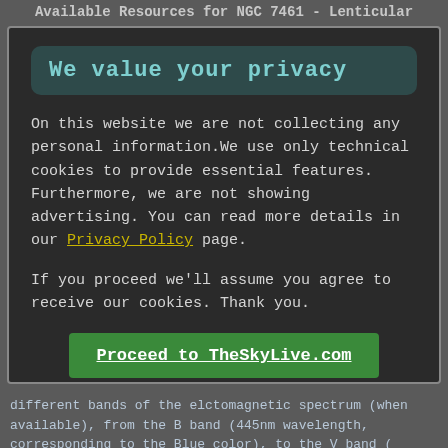Available Resources for NGC 7461 - Lenticular
We value your privacy
On this website we are not collecting any personal information.We use only technical cookies to provide essential features. Furthermore, we are not showing advertising. You can read more details in our Privacy Policy page.
If you proceed we'll assume you agree to receive our cookies. Thank you.
Proceed to TheSkyLive.com
different bands of the elctomagnetic spectrum (when available), from the B band (445nm wavelength, corresponding to the Blue color), to the V band ( 551nm